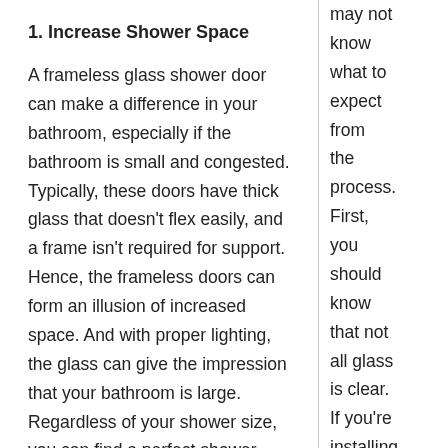1. Increase Shower Space
A frameless glass shower door can make a difference in your bathroom, especially if the bathroom is small and congested. Typically, these doors have thick glass that doesn't flex easily, and a frame isn't required for support. Hence, the frameless doors can form an illusion of increased space. And with proper lighting, the glass can give the impression that your bathroom is large. Regardless of your shower size, you can find a perfect shower door that meets your needs.
may not know what to expect from the process. First, you should know that not all glass is clear. If you're installing